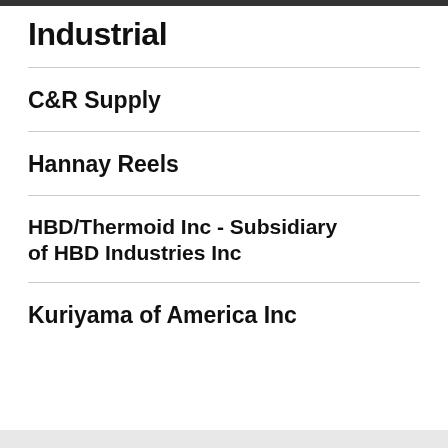Industrial
C&R Supply
Hannay Reels
HBD/Thermoid Inc - Subsidiary of HBD Industries Inc
Kuriyama of America Inc